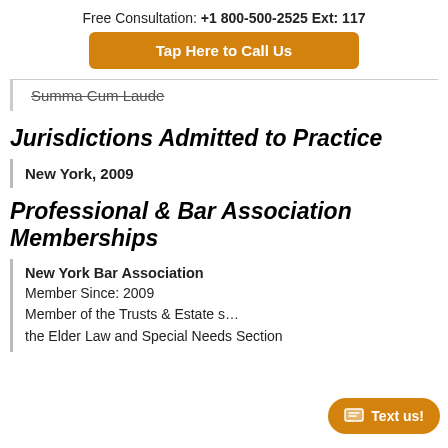Free Consultation: +1 800-500-2525 Ext: 117
Tap Here to Call Us
Summa Cum Laude
Jurisdictions Admitted to Practice
New York, 2009
Professional & Bar Association Memberships
New York Bar Association
Member Since: 2009
Member of the Trusts & Estate s...
the Elder Law and Special Needs Section